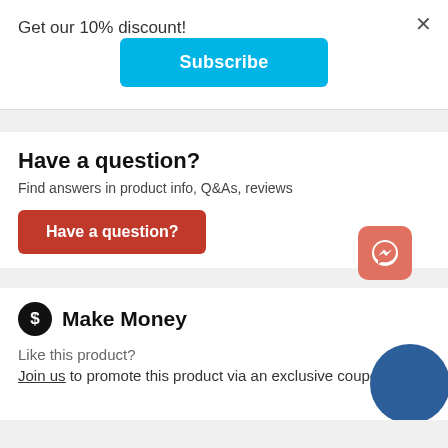Get our 10% discount!
[Figure (other): Subscribe button (cyan/light blue rounded rectangle)]
Have a question?
Find answers in product info, Q&As, reviews
[Figure (other): Have a question? button (red rounded rectangle) and Messenger icon (salmon/orange square with chat bubble)]
Make Money
Like this product?
Join us to promote this product via an exclusive coupon cod